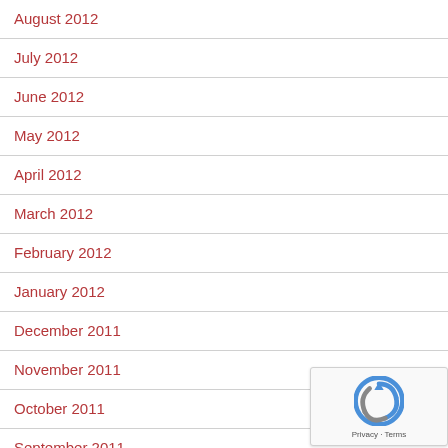August 2012
July 2012
June 2012
May 2012
April 2012
March 2012
February 2012
January 2012
December 2011
November 2011
October 2011
September 2011
August 2011